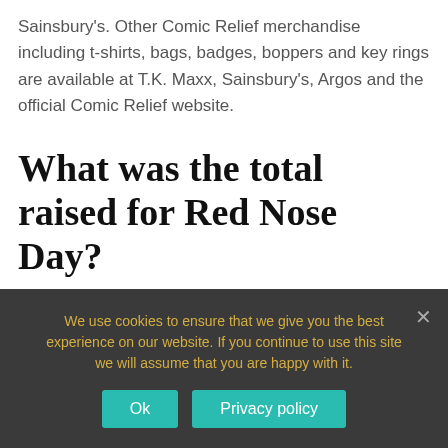Sainsbury's. Other Comic Relief merchandise including t-shirts, bags, badges, boppers and key rings are available at T.K. Maxx, Sainsbury's, Argos and the official Comic Relief website.
What was the total raised for Red Nose Day?
This year's Red Nose Day on BBC One has been another incredible success with £52,025,485 million raised. The grand total was unveiled at the end of a
We use cookies to ensure that we give you the best experience on our website. If you continue to use this site we will assume that you are happy with it.